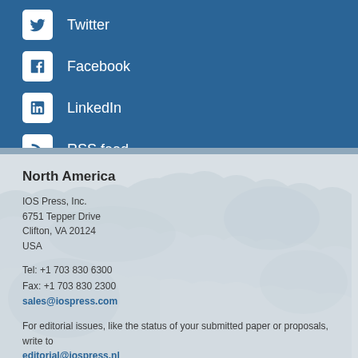Twitter
Facebook
LinkedIn
RSS feed
North America
IOS Press, Inc.
6751 Tepper Drive
Clifton, VA 20124
USA
Tel: +1 703 830 6300
Fax: +1 703 830 2300
sales@iospress.com
For editorial issues, like the status of your submitted paper or proposals, write to editorial@iospress.nl
Europe